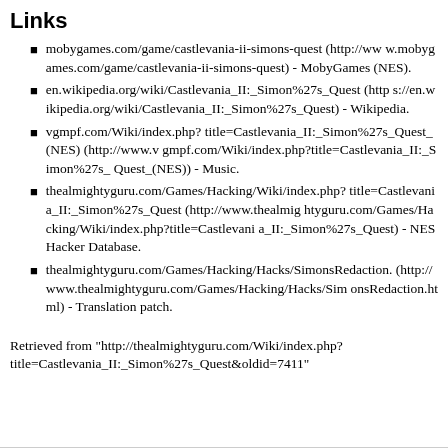Links
mobygames.com/game/castlevania-ii-simons-quest (http://www.mobygames.com/game/castlevania-ii-simons-quest) - MobyGames (NES).
en.wikipedia.org/wiki/Castlevania_II:_Simon%27s_Quest (https://en.wikipedia.org/wiki/Castlevania_II:_Simon%27s_Quest) - Wikipedia.
vgmpf.com/Wiki/index.php?title=Castlevania_II:_Simon%27s_Quest_(NES) (http://www.vgmpf.com/Wiki/index.php?title=Castlevania_II:_Simon%27s_Quest_(NES)) - Music.
thealmightyguru.com/Games/Hacking/Wiki/index.php?title=Castlevania_II:_Simon%27s_Quest (http://www.thealmightyguru.com/Games/Hacking/Wiki/index.php?title=Castlevania_II:_Simon%27s_Quest) - NES Hacker Database.
thealmightyguru.com/Games/Hacking/Hacks/SimonsRedaction.html (http://www.thealmightyguru.com/Games/Hacking/Hacks/SimonsRedaction.html) - Translation patch.
Retrieved from "http://thealmightyguru.com/Wiki/index.php?title=Castlevania_II:_Simon%27s_Quest&oldid=7411"